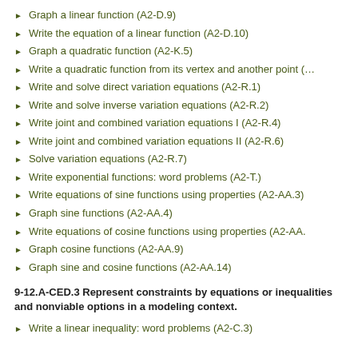Graph a linear function (A2-D.9)
Write the equation of a linear function (A2-D.10)
Graph a quadratic function (A2-K.5)
Write a quadratic function from its vertex and another point (…)
Write and solve direct variation equations (A2-R.1)
Write and solve inverse variation equations (A2-R.2)
Write joint and combined variation equations I (A2-R.4)
Write joint and combined variation equations II (A2-R.6)
Solve variation equations (A2-R.7)
Write exponential functions: word problems (A2-T.)
Write equations of sine functions using properties (A2-AA.3)
Graph sine functions (A2-AA.4)
Write equations of cosine functions using properties (A2-AA.…)
Graph cosine functions (A2-AA.9)
Graph sine and cosine functions (A2-AA.14)
9-12.A-CED.3 Represent constraints by equations or inequalities and nonviable options in a modeling context.
Write a linear inequality: word problems (A2-C.3)